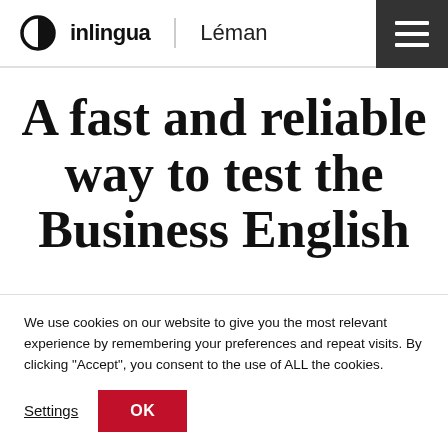inlingua Léman
A fast and reliable way to test the Business English
We use cookies on our website to give you the most relevant experience by remembering your preferences and repeat visits. By clicking “Accept”, you consent to the use of ALL the cookies.
Settings
OK